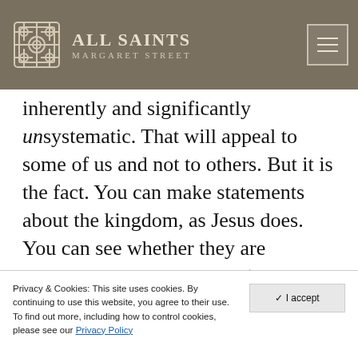ALL SAINTS MARGARET STREET
inherently and significantly unsystematic. That will appeal to some of us and not to others. But it is the fact. You can make statements about the kingdom, as Jesus does. You can see whether they are consistent with each other (and I think it fair to say that those we have are not mutually inconsistent). From that you can construct an overarching tendency of the Christian faith. Such a tendency is a good
Privacy & Cookies: This site uses cookies. By continuing to use this website, you agree to their use. To find out more, including how to control cookies, please see our Privacy Policy